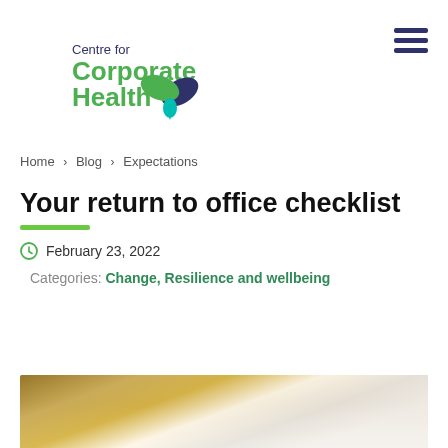[Figure (logo): Centre for Corporate Health logo with leaf/plant icon in green and navy]
Home > Blog > Expectations
Your return to office checklist
February 23, 2022
Categories: Change, Resilience and wellbeing
[Figure (photo): Partial photo of a notebook with spiral binding on a wooden desk, bottom of page]